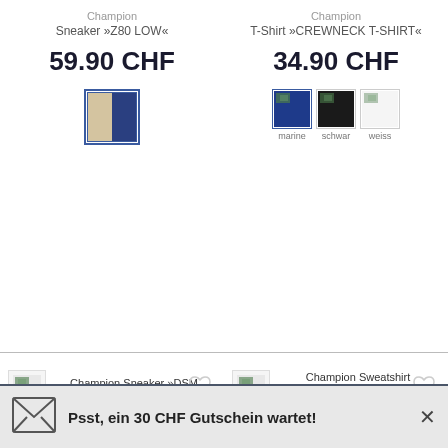Champion
Sneaker »Z80 LOW«
59.90 CHF
[Figure (other): Color swatch showing beige/tan and navy blue]
Champion
T-Shirt »CREWNECK T-SHIRT«
34.90 CHF
[Figure (other): Three color swatches: marine, schwarz, weiss]
Champion Sneaker »DSM FEMME« kaufen
Champion Sweatshirt »CREWNECK SWEATSHIRT« kaufen
Psst, ein 30 CHF Gutschein wartet!